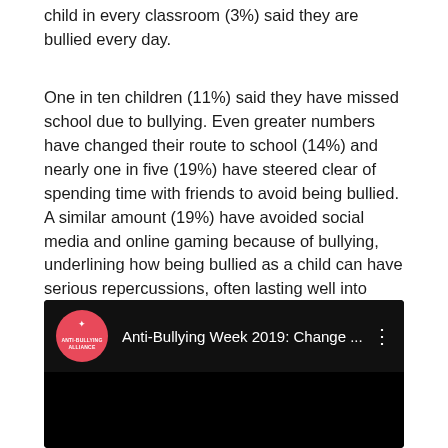child in every classroom (3%) said they are bullied every day.
One in ten children (11%) said they have missed school due to bullying. Even greater numbers have changed their route to school (14%) and nearly one in five (19%) have steered clear of spending time with friends to avoid being bullied. A similar amount (19%) have avoided social media and online gaming because of bullying, underlining how being bullied as a child can have serious repercussions, often lasting well into adulthood.
[Figure (screenshot): YouTube video thumbnail for Anti-Bullying Week 2019: Change ... by Anti-Bullying Alliance. Dark background with pink/red logo circle and white title text.]